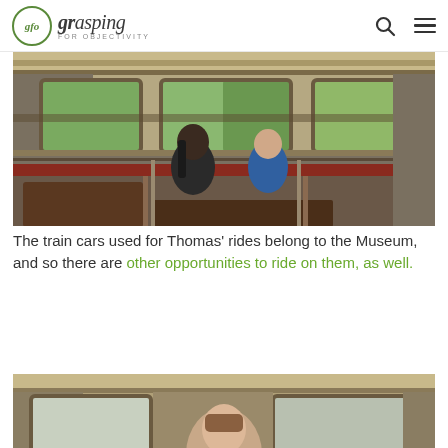gfo grasping FOR OBJECTIVITY
[Figure (photo): Interior of a vintage train car with two children (a girl and a boy in blue) looking out the window at green scenery outside. The car has red upholstered seats, wood paneling, and overhead luggage racks.]
The train cars used for Thomas' rides belong to the Museum, and so there are other opportunities to ride on them, as well.
[Figure (photo): Interior of a vintage train car showing a woman or girl seated near a window, with the same style paneling and seats visible.]